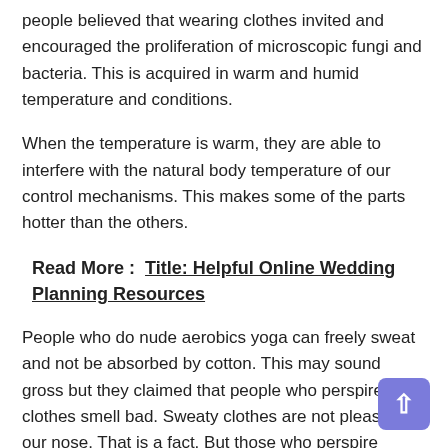people believed that wearing clothes invited and encouraged the proliferation of microscopic fungi and bacteria. This is acquired in warm and humid temperature and conditions.
When the temperature is warm, they are able to interfere with the natural body temperature of our control mechanisms. This makes some of the parts hotter than the others.
Read More :  Title: Helpful Online Wedding Planning Resources
People who do nude aerobics yoga can freely sweat and not be absorbed by cotton. This may sound gross but they claimed that people who perspire in clothes smell bad. Sweaty clothes are not pleasing to our nose. That is a fact. But those who perspire naturally smell better.
Wearing shorts and trousers will raise the temperature of the testicles for the male. This then results to hinder the growth of sperm and the male hormones which reduces fertility. This can